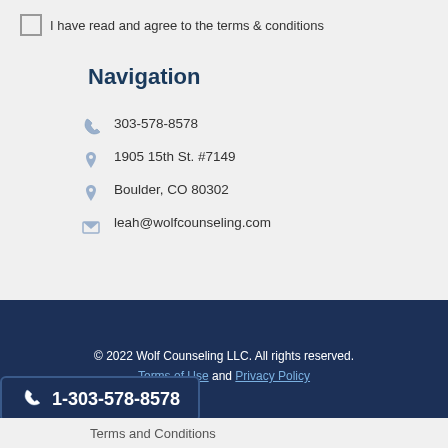I have read and agree to the terms & conditions
Navigation
303-578-8578
1905 15th St. #7149
Boulder, CO 80302
leah@wolfcounseling.com
© 2022 Wolf Counseling LLC. All rights reserved. Terms of Use and Privacy Policy
1-303-578-8578
Terms and Conditions